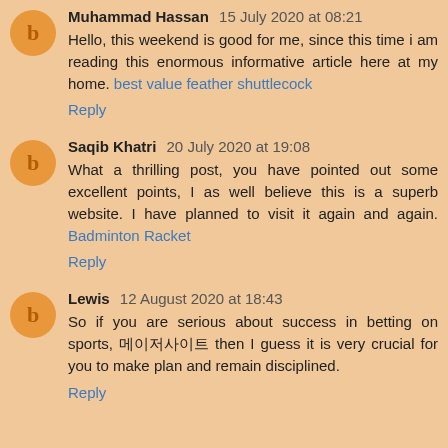Muhammad Hassan 15 July 2020 at 08:21
Hello, this weekend is good for me, since this time i am reading this enormous informative article here at my home. best value feather shuttlecock
Reply
Saqib Khatri 20 July 2020 at 19:08
What a thrilling post, you have pointed out some excellent points, I as well believe this is a superb website. I have planned to visit it again and again. Badminton Racket
Reply
Lewis 12 August 2020 at 18:43
So if you are serious about success in betting on sports, 메이저사이트 then I guess it is very crucial for you to make plan and remain disciplined.
Reply